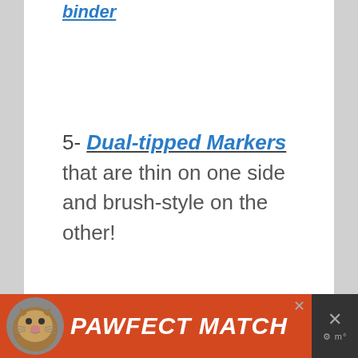binder
5- Dual-tipped Markers that are thin on one side and brush-style on the other!
[Figure (other): Advertisement banner for 'PAWFECT MATCH' with a cat image on an orange/red background with a close button]